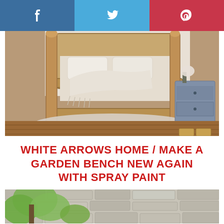[Figure (other): Social sharing bar with Facebook (blue), Twitter (light blue), and Pinterest (red) icons]
[Figure (photo): Bedroom photo showing a farmhouse-style wooden bed frame with white bedding and fringed throw blanket, a gray nightstand with wicker baskets, and a shag rug on hardwood floors]
WHITE ARROWS HOME / MAKE A GARDEN BENCH NEW AGAIN WITH SPRAY PAINT
[Figure (photo): Outdoor garden photo showing green leafy branches in front of a stone wall, partially visible at bottom of page]